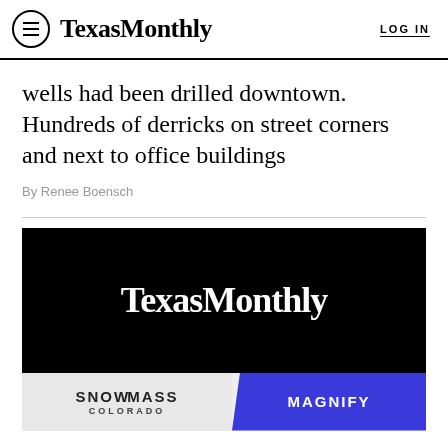TexasMonthly   LOG IN
wells had been drilled downtown. Hundreds of derricks on street corners and next to office buildings
By Renee Boensch
[Figure (screenshot): Black background with white TexasMonthly logo text centered]
[Figure (screenshot): Advertisement bar with Snowmass Colorado on left and Magnify on blue right panel]